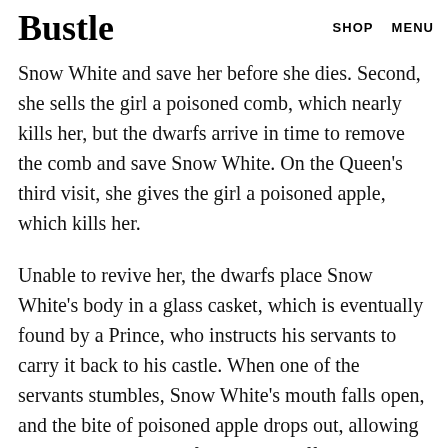Bustle  SHOP  MENU
the girl in with enchanted bodice strings, which tighten until they suffocate her, but the dwarfs find Snow White and save her before she dies. Second, she sells the girl a poisoned comb, which nearly kills her, but the dwarfs arrive in time to remove the comb and save Snow White. On the Queen's third visit, she gives the girl a poisoned apple, which kills her.
Unable to revive her, the dwarfs place Snow White's body in a glass casket, which is eventually found by a Prince, who instructs his servants to carry it back to his castle. When one of the servants stumbles, Snow White's mouth falls open, and the bite of poisoned apple drops out, allowing her to come back to life. She goes off to the Prince's castle to become his wife.